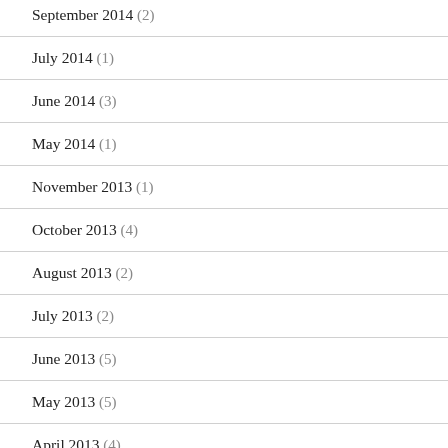September 2014 (2)
July 2014 (1)
June 2014 (3)
May 2014 (1)
November 2013 (1)
October 2013 (4)
August 2013 (2)
July 2013 (2)
June 2013 (5)
May 2013 (5)
April 2013 (4)
March 2013 (3)